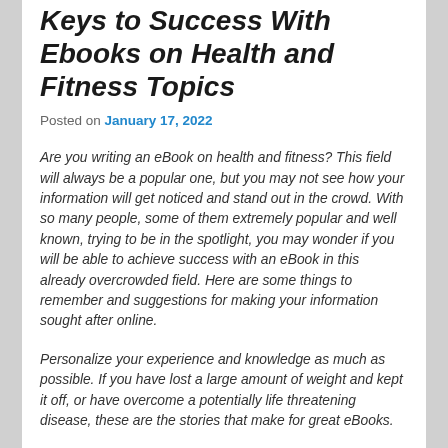Keys to Success With Ebooks on Health and Fitness Topics
Posted on January 17, 2022
Are you writing an eBook on health and fitness? This field will always be a popular one, but you may not see how your information will get noticed and stand out in the crowd. With so many people, some of them extremely popular and well known, trying to be in the spotlight, you may wonder if you will be able to achieve success with an eBook in this already overcrowded field. Here are some things to remember and suggestions for making your information sought after online.
Personalize your experience and knowledge as much as possible. If you have lost a large amount of weight and kept it off, or have overcome a potentially life threatening disease, these are the stories that make for great eBooks.